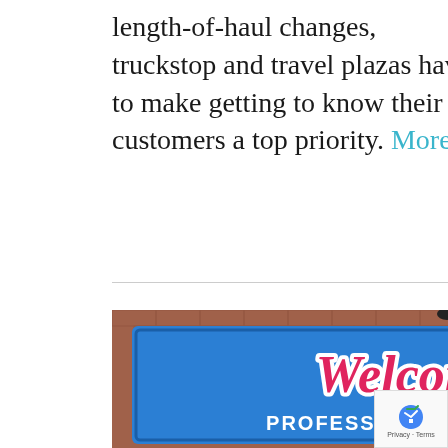length-of-haul changes, truckstop and travel plazas have to make getting to know their customers a top priority. More
[Figure (photo): A blue sign on a brick building reading 'Welcome PROFESSIONAL DRIVERS' in white and pink script lettering.]